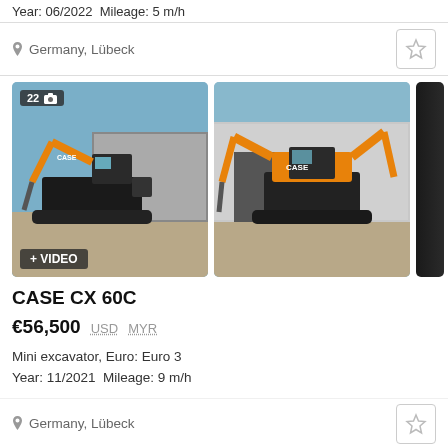Year: 06/2022  Mileage: 5 m/h
Germany, Lübeck
[Figure (photo): Two photos of a CASE CX 60C mini excavator (orange and black) parked on a paved lot in front of industrial buildings, shown from different angles. Left photo has a '22 photo' badge and '+ VIDEO' label. Right photo is partially cropped.]
CASE CX 60C
€56,500  USD  MYR
Mini excavator, Euro: Euro 3
Year: 11/2021  Mileage: 9 m/h
Germany, Lübeck